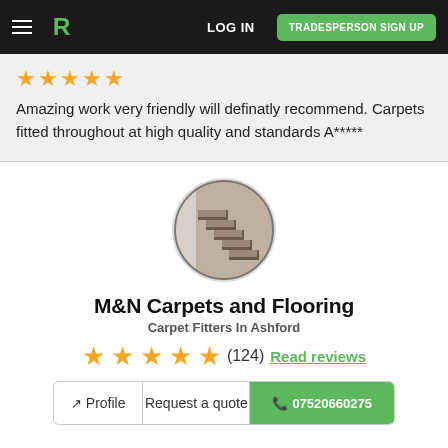LOG IN | TRADESPERSON SIGN UP
Amazing work very friendly will definatly recommend. Carpets fitted throughout at high quality and standards A*****
[Figure (photo): Circular profile photo showing carpeted staircase with dark border trim]
M&N Carpets and Flooring
Carpet Fitters In Ashford
★★★★★ (124) Read reviews
Profile | Request a quote | 07520660275
Thank you for taking the time to look at my profile. My name is Mohammed Jakir Ali. I have been in this trade for over 10